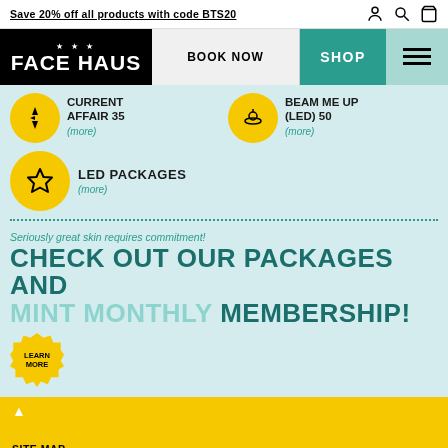Save 20% off all products with code BTS20
[Figure (screenshot): Face Haus navigation bar with logo, BOOK NOW, SHOP, and hamburger menu]
CURRENT AFFAIR 35 (more)
BEAM ME UP (LED) 50 (more)
LED PACKAGES (more)
Seriously great skin requires commitment!
CHECK OUT OUR PACKAGES AND MINT MONTHLY MEMBERSHIP!
LEARN MORE
SITE MAP